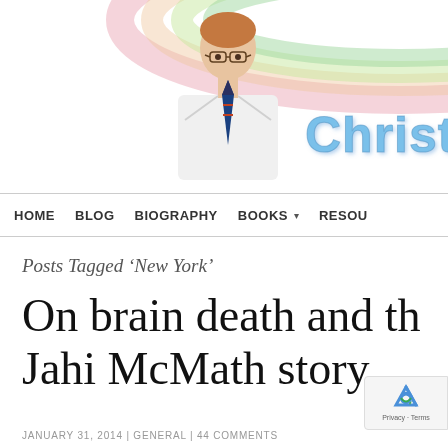[Figure (screenshot): Website header banner showing a doctor in white coat with rainbow arc background and site title 'Christopher' in blue 3D text]
HOME   BLOG   BIOGRAPHY   BOOKS ▾   RESOU
Posts Tagged 'New York'
On brain death and th Jahi McMath story
JANUARY 31, 2014 | GENERAL | 44 COMMENTS